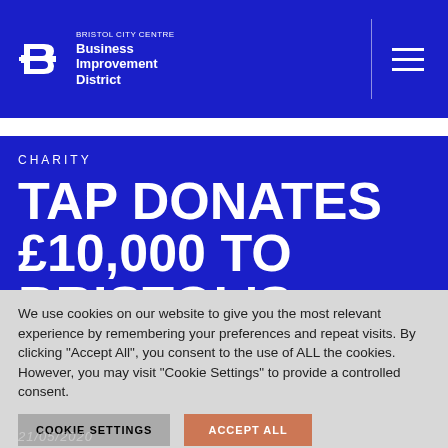Bristol City Centre Business Improvement District
CHARITY
TAP DONATES £10,000 TO BRISTOL'S HOMELESS
We use cookies on our website to give you the most relevant experience by remembering your preferences and repeat visits. By clicking "Accept All", you consent to the use of ALL the cookies. However, you may visit "Cookie Settings" to provide a controlled consent.
COOKIE SETTINGS   ACCEPT ALL
21/05/2020